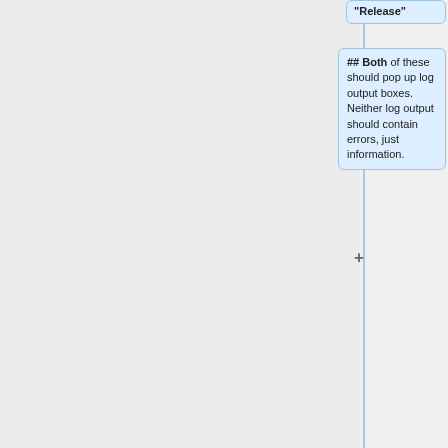"Release"
## Both of these should pop up log output boxes. Neither log output should contain errors, just information.
[Figure (flowchart): Two empty white connector cards in a flowchart diagram]
===Student Work===
* Create a source directory within the new course directory, e.g. <code>~nbgrader/pcs290/source</code> All of the assignment directories should be